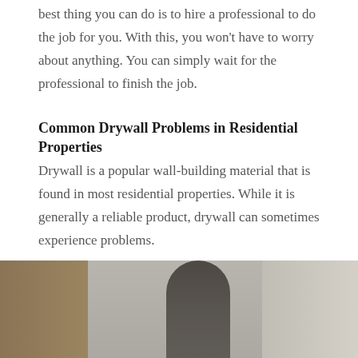best thing you can do is to hire a professional to do the job for you. With this, you won't have to worry about anything. You can simply wait for the professional to finish the job.
Common Drywall Problems in Residential Properties
Drywall is a popular wall-building material that is found in most residential properties. While it is generally a reliable product, drywall can sometimes experience problems.
[Figure (photo): A person working on drywall installation in a residential interior, showing walls and a doorframe.]